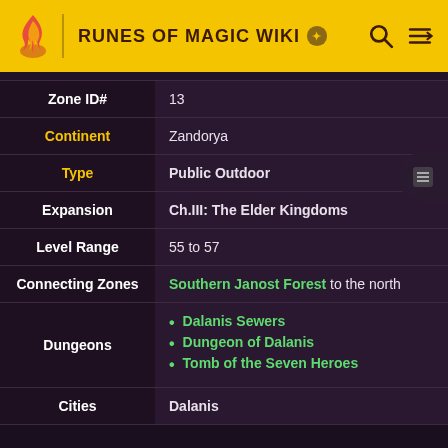RUNES OF MAGIC WIKI
| Property | Value |
| --- | --- |
| Zone ID# | 13 |
| Continent | Zandorya |
| Type | Public Outdoor |
| Expansion | Ch.III: The Elder Kingdoms |
| Level Range | 55 to 57 |
| Connecting Zones | Southern Janost Forest to the north |
| Dungeons | Dalanis Sewers / Dungeon of Dalanis / Tomb of the Seven Heroes |
| Cities | Dalanis |